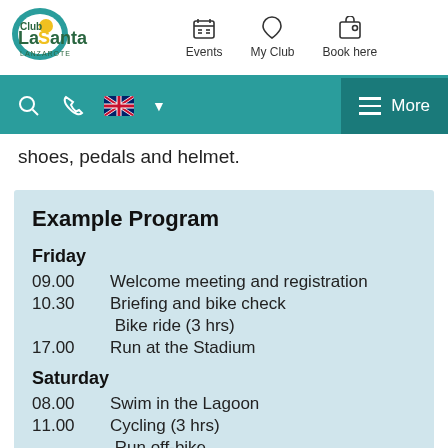[Figure (screenshot): Club La Santa Lanzarote website header with logo, Events, My Club, Book here navigation, teal search/phone/language bar with More button]
shoes, pedals and helmet.
Example Program
Friday
09.00  Welcome meeting and registration
10.30  Briefing and bike check
         Bike ride (3 hrs)
17.00  Run at the Stadium
Saturday
08.00  Swim in the Lagoon
11.00  Cycling (3 hrs)
         Run off-bike